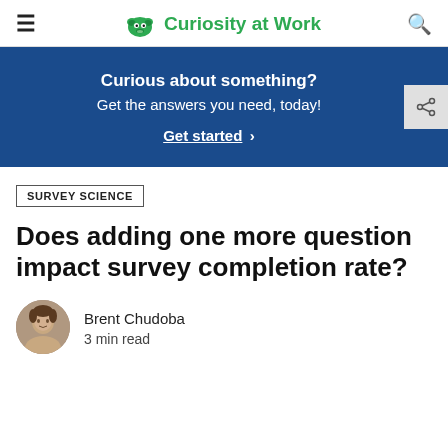≡  Curiosity at Work  🔍
Curious about something? Get the answers you need, today! Get started ›
SURVEY SCIENCE
Does adding one more question impact survey completion rate?
Brent Chudoba
3 min read